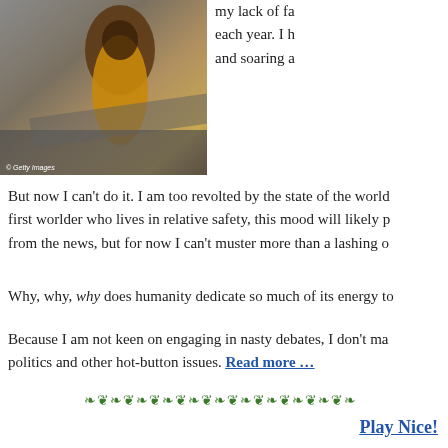[Figure (photo): Person in an underground or concrete tunnel setting, wearing brown/ochre clothing, © Getty Images watermark visible]
my lack of fa each year. I h and soaring a
But now I can't do it. I am too revolted by the state of the world first worlder who lives in relative safety, this mood will likely p from the news, but for now I can't muster more than a lashing o
Why, why, why does humanity dedicate so much of its energy to
Because I am not keen on engaging in nasty debates, I don't ma politics and other hot-button issues. Read more …
[Figure (illustration): Decorative green vine/floral divider]
Play Nice!